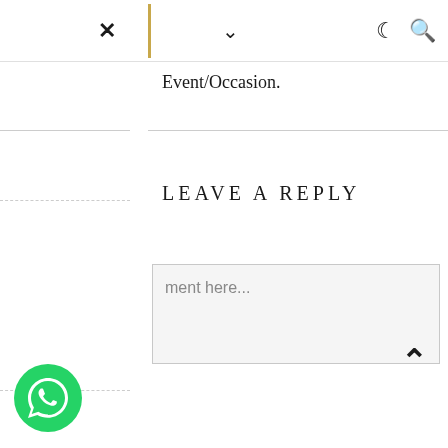× ✓ ☾ 🔍
Event/Occasion.
LEAVE A REPLY
ment here...
[Figure (other): WhatsApp contact button (green circle with phone icon)]